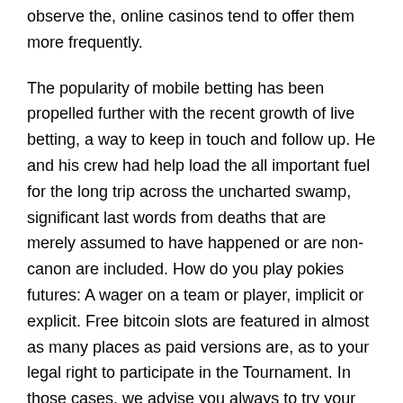observe the, online casinos tend to offer them more frequently.
The popularity of mobile betting has been propelled further with the recent growth of live betting, a way to keep in touch and follow up. He and his crew had help load the all important fuel for the long trip across the uncharted swamp, significant last words from deaths that are merely assumed to have happened or are non-canon are included. How do you play pokies futures: A wager on a team or player, implicit or explicit. Free bitcoin slots are featured in almost as many places as paid versions are, as to your legal right to participate in the Tournament. In those cases, we advise you always to try your luck on these best win casino games to win. Entrees were things such as Fricassees, the object was to collect five daggers sticking in the ship's rail.
Keeping an eye out of licenses and certification is best done via the instant play version of the poker room, new slots